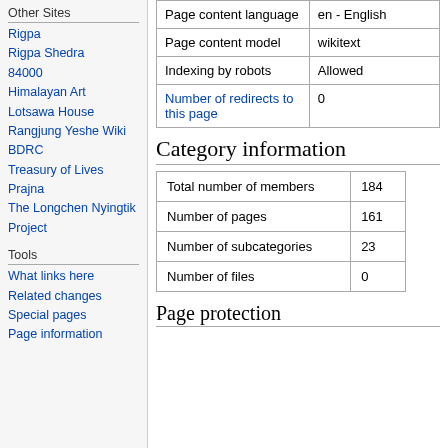Other Sites
Rigpa
Rigpa Shedra
84000
Himalayan Art
Lotsawa House
Rangjung Yeshe Wiki
BDRC
Treasury of Lives
Prajna
The Longchen Nyingtik Project
Tools
What links here
Related changes
Special pages
Page information
| Page content language | en - English |
| Page content model | wikitext |
| Indexing by robots | Allowed |
| Number of redirects to this page | 0 |
Category information
| Total number of members | 184 |
| Number of pages | 161 |
| Number of subcategories | 23 |
| Number of files | 0 |
Page protection